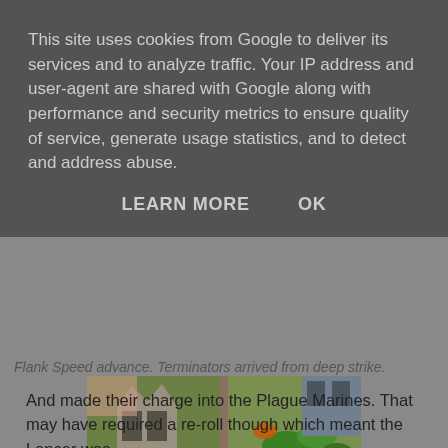This site uses cookies from Google to deliver its services and to analyze traffic. Your IP address and user-agent are shared with Google along with performance and security metrics to ensure quality of service, generate usage statistics, and to detect and address abuse.
LEARN MORE    OK
Flank Speed advance. Terminators arrived from deep strike.
[Figure (photo): Overhead view of a Warhammer 40K tabletop miniature wargame scene showing painted miniature figures on a green game mat with terrain pieces including ruined buildings and foliage. Left half shows red/dark armored figures near ruins, right half shows more red armored marines on grass terrain.]
And made their charge into the Plague Marines. That may have required a re-roll though which meant the Lancer was